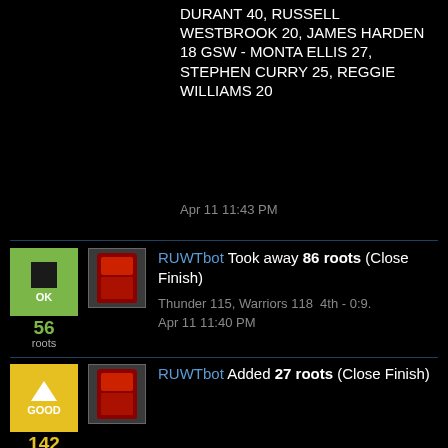DURANT 40, RUSSELL WESTBROOK 20, JAMES HARDEN 18 GSW - MONTA ELLIS 27, STEPHEN CURRY 25, REGGIE WILLIAMS 20
Apr 11 11:43 PM
RUWTbot Took away 86 roots (Close Finish)
Thunder 115, Warriors 118  4th - 0:9.
Apr 11 11:40 PM
56 roots
RUWTbot Added 27 roots (Close Finish)
Thunder 107, Warriors 108  4th - 2:22
Apr 11 11:22 PM
142 roots
RUWTbot Added 15 roots (Close Finish)
Thunder 103, Warriors 102  4th - 4:53
Apr 11 11:19 PM
115 roots
RUWTbot Added 80 roots (Cl...